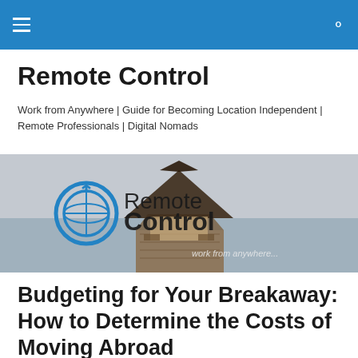Remote Control — navigation bar with hamburger menu and search icon
Remote Control
Work from Anywhere | Guide for Becoming Location Independent | Remote Professionals | Digital Nomads
[Figure (logo): Remote Control website banner image showing a tropical pier with thatched roof hut, overlaid with the Remote Control logo (globe power icon) and text 'RemoteControl' and 'work from anywhere']
Budgeting for Your Breakaway: How to Determine the Costs of Moving Abroad